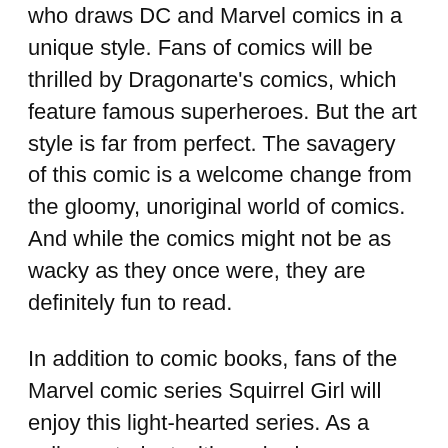who draws DC and Marvel comics in a unique style. Fans of comics will be thrilled by Dragonarte's comics, which feature famous superheroes. But the art style is far from perfect. The savagery of this comic is a welcome change from the gloomy, unoriginal world of comics. And while the comics might not be as wacky as they once were, they are definitely fun to read.
In addition to comic books, fans of the Marvel comic series Squirrel Girl will enjoy this light-hearted series. As a college student with squirrel powers, Squirrel Girl is an important asset to the Avengers. Her can-do attitude makes her a perfect superhero to enjoy. And she's just the right kind of comic for anyone looking for an easy laugh and a good time in the Marvel universe. And if you want to see your favorite superhero comic book characters, Squirrel Girl is a great choice.